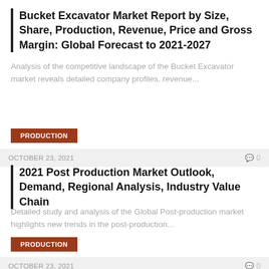Bucket Excavator Market Report by Size, Share, Production, Revenue, Price and Gross Margin: Global Forecast to 2021-2027
Analysis of the competitive landscape of the Bucket Excavator market reveals detailed company profiles, revenue...
PRODUCTION
OCTOBER 23, 2021
2021 Post Production Market Outlook, Demand, Regional Analysis, Industry Value Chain
Detailed study and analysis of the Global Post-production market highlights new trends in the post-production...
PRODUCTION
OCTOBER 23, 2021
Exploration and Production (E&P) Software Market...